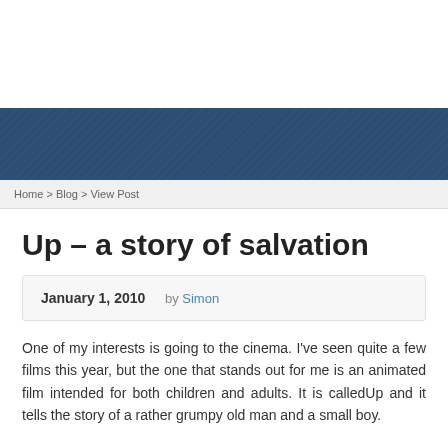Home > Blog > View Post
Up – a story of salvation
January 1, 2010   by Simon
One of my interests is going to the cinema. I've seen quite a few films this year, but the one that stands out for me is an animated film intended for both children and adults. It is calledUp and it tells the story of a rather grumpy old man and a small boy.